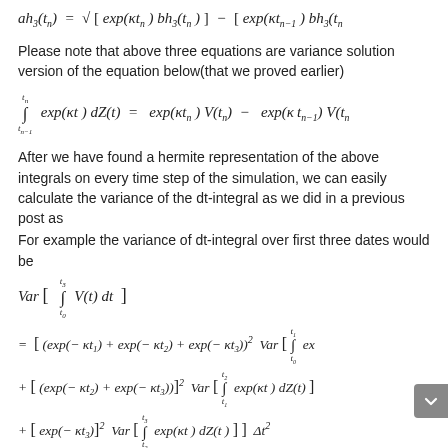Please note that above three equations are variance solution version of the equation below(that we proved earlier)
After we have found a hermite representation of the above integrals on every time step of the simulation, we can easily calculate the variance of the dt-integral as we did in a previous post as
For example the variance of dt-integral over first three dates would be